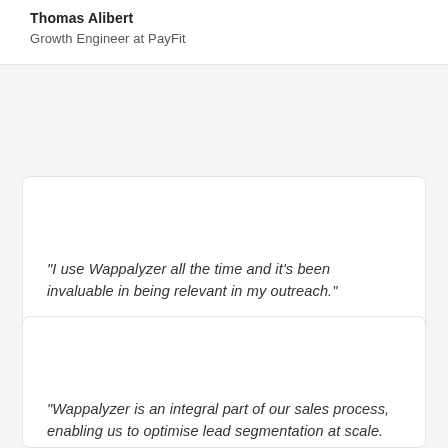Thomas Alibert
Growth Engineer at PayFit
“I use Wappalyzer all the time and it’s been invaluable in being relevant in my outreach.”
Michael Petselas
Customer Growth Specialist at HubSpot
“Wappalyzer is an integral part of our sales process, enabling us to optimise lead segmentation at scale. It’s a total game changer for our organisation.”